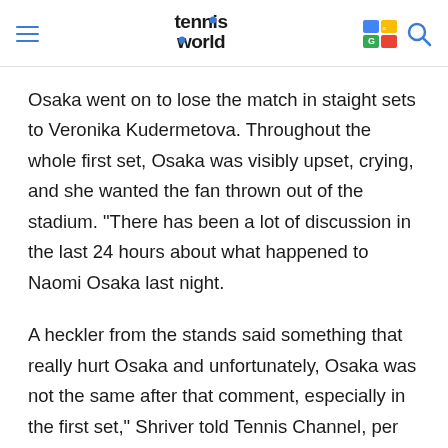Tennis World
Osaka went on to lose the match in staight sets to Veronika Kudermetova. Throughout the whole first set, Osaka was visibly upset, crying, and she wanted the fan thrown out of the stadium. "There has been a lot of discussion in the last 24 hours about what happened to Naomi Osaka last night.
A heckler from the stands said something that really hurt Osaka and unfortunately, Osaka was not the same after that comment, especially in the first set," Shriver told Tennis Channel, per